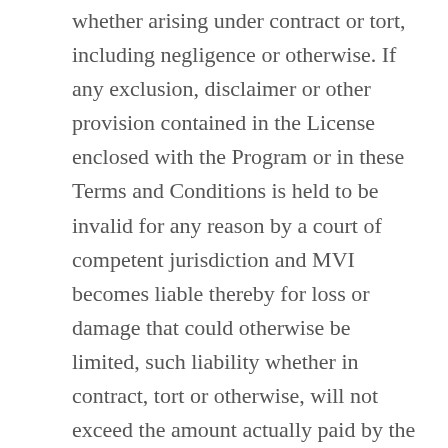whether arising under contract or tort, including negligence or otherwise. If any exclusion, disclaimer or other provision contained in the License enclosed with the Program or in these Terms and Conditions is held to be invalid for any reason by a court of competent jurisdiction and MVI becomes liable thereby for loss or damage that could otherwise be limited, such liability whether in contract, tort or otherwise, will not exceed the amount actually paid by the purchaser for the software.
General Terms Conditions
Any reseller, distributor or dealer (including any MVI approved dealer or representative)